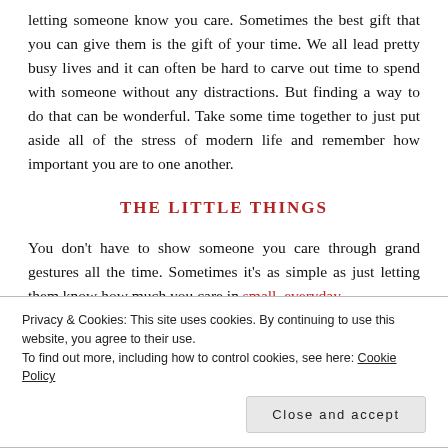letting someone know you care. Sometimes the best gift that you can give them is the gift of your time. We all lead pretty busy lives and it can often be hard to carve out time to spend with someone without any distractions. But finding a way to do that can be wonderful. Take some time together to just put aside all of the stress of modern life and remember how important you are to one another.
THE LITTLE THINGS
You don't have to show someone you care through grand gestures all the time. Sometimes it's as simple as just letting them know how much you care in small, everyday ways. Things like helping them out around the house
Privacy & Cookies: This site uses cookies. By continuing to use this website, you agree to their use.
To find out more, including how to control cookies, see here: Cookie Policy
Close and accept